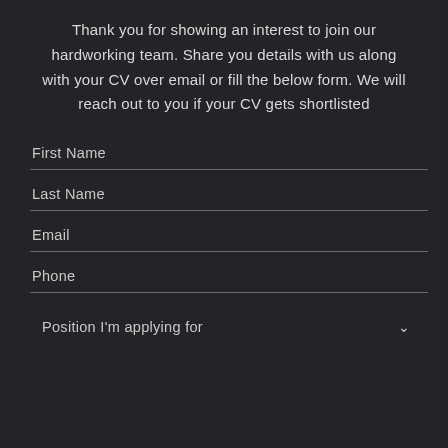Thank you for showing an interest to join our hardworking team. Share you details with us along with your CV over email or fill the below form. We will reach out to you if your CV gets shortlisted
First Name
Last Name
Email
Phone
Position I'm applying for